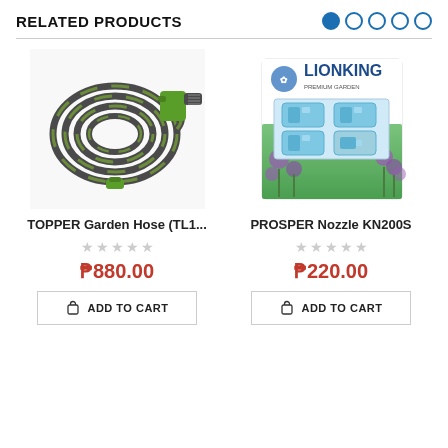RELATED PRODUCTS
[Figure (photo): TOPPER Garden Hose with green spray nozzle, coiled]
TOPPER Garden Hose (TL1...
☆☆☆☆☆
₱880.00
ADD TO CART
[Figure (photo): PROSPER Nozzle KN200S, LionKing brand packaging with blue connectors]
PROSPER Nozzle KN200S
☆☆☆☆☆
₱220.00
ADD TO CART